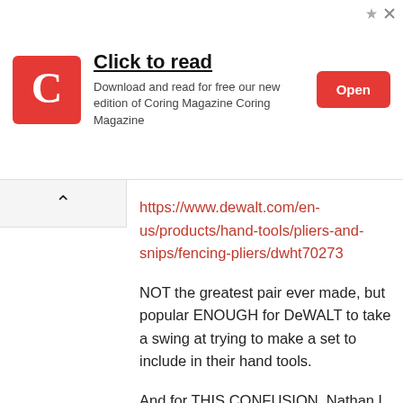[Figure (screenshot): Advertisement banner for Coring Magazine with red C logo, 'Click to read' title, subtitle text, and red Open button]
https://www.dewalt.com/en-us/products/hand-tools/pliers-and-snips/fencing-pliers/dwht70273
NOT the greatest pair ever made, but popular ENOUGH for DeWALT to take a swing at trying to make a set to include in their hand tools.
And for THIS CONFUSION, Nathan L, I am truly sorry if I came off as rude. I was just a little frustrated that the humble Fencing Pliers got such... I don't know...Disgust? From such hard working tool people here... and yet none of you ever used their NAME. I'm sorry, and I really